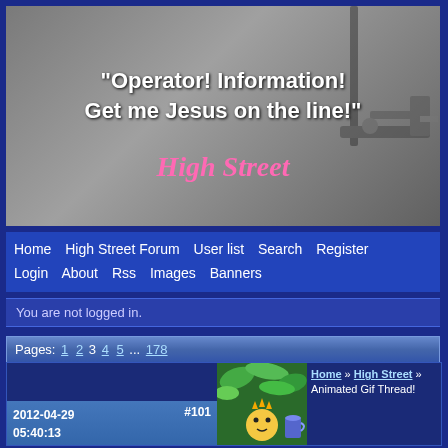[Figure (photo): Website banner with gray/black background showing mechanical/industrial imagery. White bold text reads: "Operator! Information! Get me Jesus on the line!" with pink italic bold text below reading: High Street]
Home   High Street Forum   User list   Search   Register   Login   About   Rss   Images   Banners
You are not logged in.
Pages: 1 2 3 4 5 ... 178
Home » High Street » Animated Gif Thread!
2012-04-29 05:40:13   #101